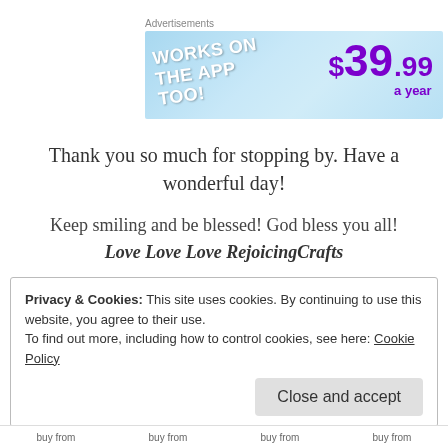Advertisements
[Figure (infographic): Blue gradient advertisement banner showing 'WORKS ON THE APP TOO!' in white bold text on the left and '$39.99 a year' in purple bold text on the right]
Thank you so much for stopping by. Have a wonderful day!
Keep smiling and be blessed! God bless you all!
Love Love Love RejoicingCrafts
Privacy & Cookies: This site uses cookies. By continuing to use this website, you agree to their use.
To find out more, including how to control cookies, see here: Cookie Policy
Close and accept
buy from   buy from   buy from   buy from